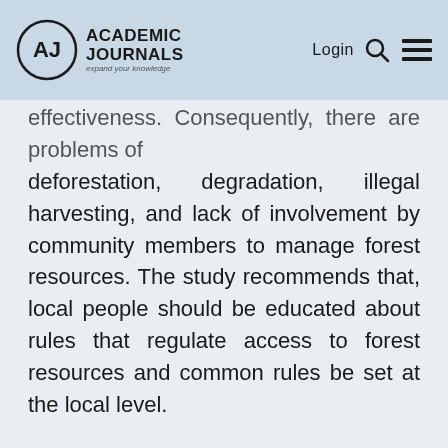Academic Journals — expand your knowledge | Login
effectiveness. Consequently, there are problems of deforestation, degradation, illegal harvesting, and lack of involvement by community members to manage forest resources. The study recommends that, local people should be educated about rules that regulate access to forest resources and common rules be set at the local level.
Key words: Utilisation of forest resources, Accces of forest resources, forest management, sustainability.